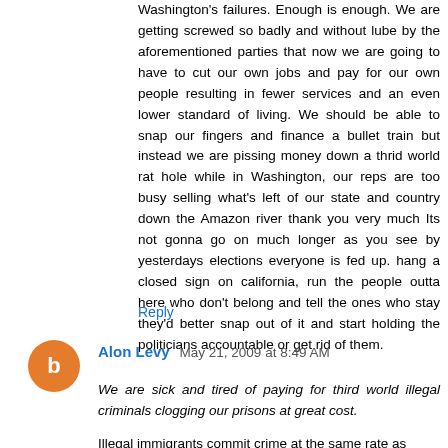Washington's failures. Enough is enough. We are getting screwed so badly and without lube by the aforementioned parties that now we are going to have to cut our own jobs and pay for our own people resulting in fewer services and an even lower standard of living. We should be able to snap our fingers and finance a bullet train but instead we are pissing money down a thrid world rat hole while in Washington, our reps are too busy selling what's left of our state and country down the Amazon river thank you very much Its not gonna go on much longer as you see by yesterdays elections everyone is fed up. hang a closed sign on california, run the people outta here who don't belong and tell the ones who stay they'd better snap out of it and start holding the politicians accountable or get rid of them.
Reply
Alon Levy  May 21, 2009 at 8:49 AM
We are sick and tired of paying for third world illegal criminals clogging our prisons at great cost.
Illegal immigrants commit crime at the same rate as